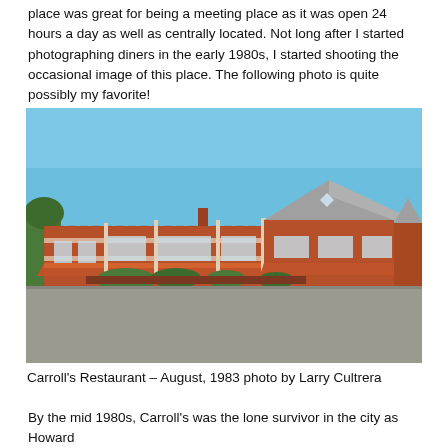place was great for being a meeting place as it was open 24 hours a day as well as centrally located. Not long after I started photographing diners in the early 1980s, I started shooting the occasional image of this place. The following photo is quite possibly my favorite!
[Figure (photo): Exterior photograph of Carroll's Restaurant, a large brick building with orange/red awnings, taken in August 1983 by Larry Cultrera. The building has multiple sections including a flat-roofed portion and a gabled section. A blue sky is visible above and a parking lot in the foreground.]
Carroll's Restaurant – August, 1983 photo by Larry Cultrera
By the mid 1980s, Carroll's was the lone survivor in the city as Howard